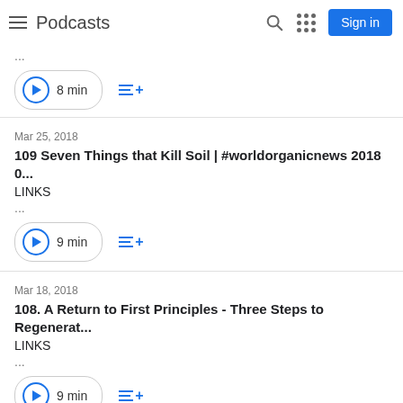Podcasts
...
8 min
Mar 25, 2018
109 Seven Things that Kill Soil | #worldorganicnews 2018 0...
LINKS
...
9 min
Mar 18, 2018
108. A Return to First Principles - Three Steps to Regenerat...
LINKS
...
9 min